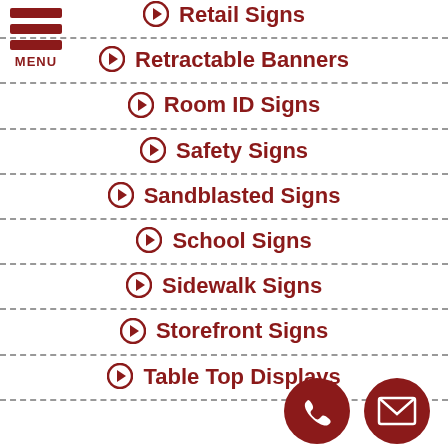[Figure (other): Hamburger menu icon with three red horizontal bars and MENU label]
Retail Signs
Retractable Banners
Room ID Signs
Safety Signs
Sandblasted Signs
School Signs
Sidewalk Signs
Storefront Signs
Table Top Displays
[Figure (other): Phone call button - dark red circle with phone icon]
[Figure (other): Email button - dark red circle with envelope icon]